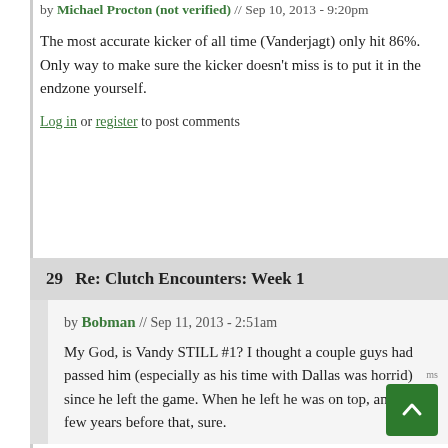by Michael Procton (not verified) // Sep 10, 2013 - 9:20pm
The most accurate kicker of all time (Vanderjagt) only hit 86%. Only way to make sure the kicker doesn't miss is to put it in the endzone yourself.
Log in or register to post comments
29  Re: Clutch Encounters: Week 1
by Bobman // Sep 11, 2013 - 2:51am
My God, is Vandy STILL #1? I thought a couple guys had passed him (especially as his time with Dallas was horrid) since he left the game. When he left he was on top, and for a few years before that, sure.